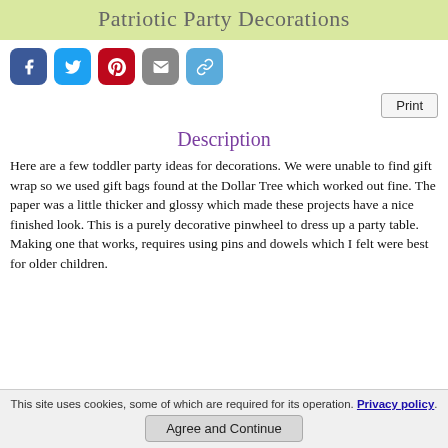Patriotic Party Decorations
[Figure (infographic): Row of five social sharing buttons: Facebook (blue), Twitter (light blue), Pinterest (red), Email (gray), Copy link (light blue)]
Print
Description
Here are a few toddler party ideas for decorations. We were unable to find gift wrap so we used gift bags found at the Dollar Tree which worked out fine. The paper was a little thicker and glossy which made these projects have a nice finished look. This is a purely decorative pinwheel to dress up a party table. Making one that works, requires using pins and dowels which I felt were best for older children.
This site uses cookies, some of which are required for its operation. Privacy policy.
Agree and Continue